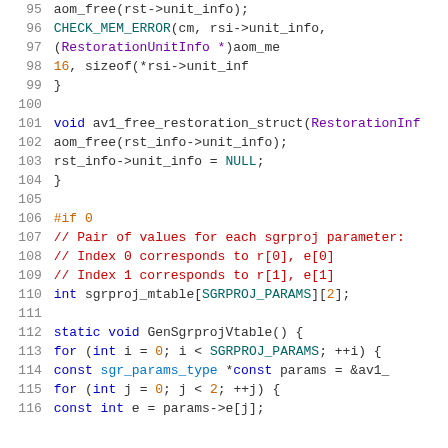[Figure (screenshot): Source code listing in C, lines 95-116, showing restoration struct functions and sgrproj vtable generation code with syntax highlighting on white background.]